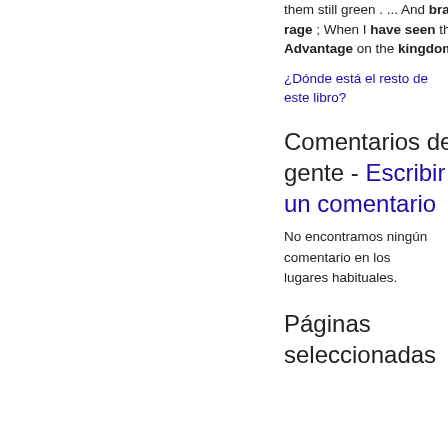them still green . ... And brass eternal slave io mortal rage ; When I have seen the hungry ocean gain Advantage on the kingdom of the shore , And the firm ...
¿Dónde está el resto de este libro?
Comentarios de la gente - Escribir un comentario
No encontramos ningún comentario en los lugares habituales.
Páginas seleccionadas